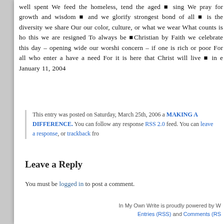well spent We feed the homeless, tend the aged ■ sing We pray for growth and wisdom ■ and we glorify strongest bond of all ■ is the diversity we share Our our color, culture, or what we wear What counts is ho this we are resigned To always be ■Christian by Faith we celebrate this day – opening wide our worshi concern – if one is rich or poor For all who enter a have a need For it is here that Christ will live ■ in e January 11, 2004
This entry was posted on Saturday, March 25th, 2006 a MAKING A DIFFERENCE. You can follow any response RSS 2.0 feed. You can leave a response, or trackback fro
Leave a Reply
You must be logged in to post a comment.
In My Own Write is proudly powered by W Entries (RSS) and Comments (RS